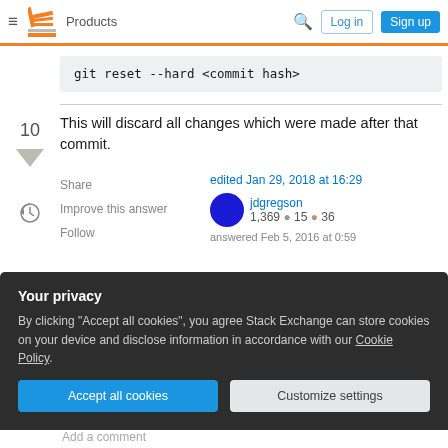≡  [Stack Overflow logo]  Products  🔍  Log in  Sign up
10
git reset --hard <commit hash>
This will discard all changes which were made after that commit.
Share
Improve this answer
Follow
edited Jan 29, 2018 at 16:29
jdgregson
1,369 ● 15 ● 36
answered Feb 5, 2016 at 0:59
Your privacy
By clicking "Accept all cookies", you agree Stack Exchange can store cookies on your device and disclose information in accordance with our Cookie Policy.
Accept all cookies  Customize settings
Add a comment